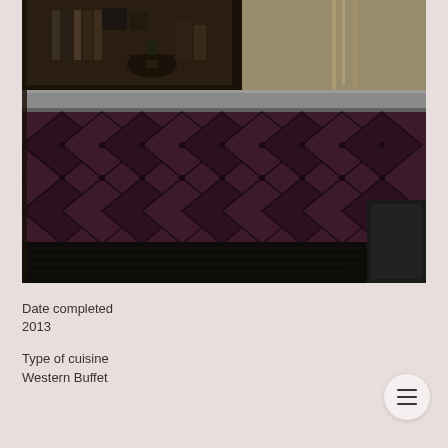[Figure (photo): Interior photo of a dark, upscale restaurant or bar reception desk. The counter has dark tufted leather paneling in a diamond/quilted pattern on the front. The countertop is light gray stone or concrete. Behind the counter are shelves with books and decorative objects. The scene is dimly lit with warm tones. A dark rectangular object is visible at the bottom right.]
Date completed
2013
Type of cuisine
Western Buffet